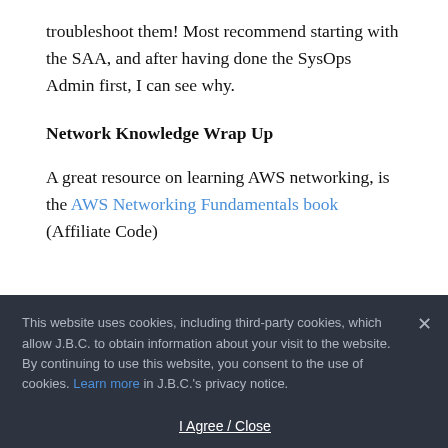troubleshoot them! Most recommend starting with the SAA, and after having done the SysOps Admin first, I can see why.
Network Knowledge Wrap Up
A great resource on learning AWS networking, is the AWS Networking Fundamentals book (Affiliate Code)
This website uses cookies, including third-party cookies, which allow J.B.C. to obtain information about your visit to the website. By continuing to use this website, you consent to the use of cookies. Learn more in J.B.C.'s privacy notice.
I Agree / Close